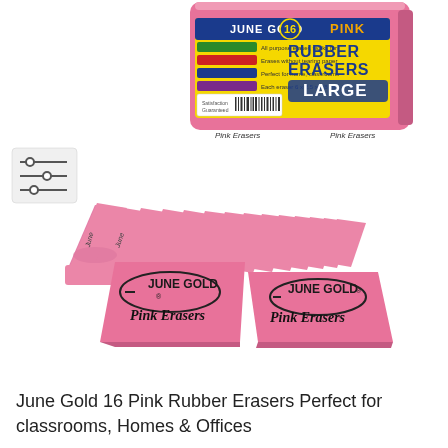[Figure (photo): Product photo of June Gold 16 Pink Rubber Erasers. Top portion shows the packaging box (pink with yellow and blue label reading 'JUNE GOLD 16 PINK RUBBER ERASERS LARGE'). Middle section shows 16 pink erasers fanned out in a row. Bottom section shows two individual pink erasers with 'JUNE GOLD Pink Erasers' imprinted on them. A small filter/settings icon is visible on the left side.]
June Gold 16 Pink Rubber Erasers Perfect for classrooms, Homes & Offices